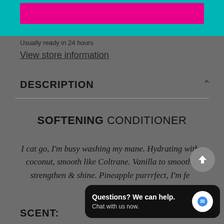[Figure (screenshot): Teal/cyan top bar with a pink/magenta button inside it, representing a store pickup or cart button]
Usually ready in 24 hours
View store information
DESCRIPTION
SOFTENING CONDITIONER
I cat go, I'm busy washing my mane. Hydrating with coconut, smooth like Coltrane. Vanilla to smooth, strengthen & shine. Pineapple purrrfect, I'm fe...
SCENT:
Questions? We can help. Chat with us now.